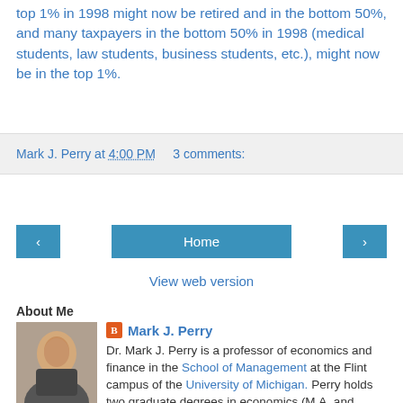top 1% in 1998 might now be retired and in the bottom 50%, and many taxpayers in the bottom 50% in 1998 (medical students, law students, business students, etc.), might now be in the top 1%.
Mark J. Perry at 4:00 PM   3 comments:
‹   Home   ›
View web version
About Me
[Figure (photo): Profile photo of Mark J. Perry]
Mark J. Perry
Dr. Mark J. Perry is a professor of economics and finance in the School of Management at the Flint campus of the University of Michigan. Perry holds two graduate degrees in economics (M.A. and Ph.D.) from George Mason University near Washington, D.C. In addition, he holds an MBA degree in finance from the Curtis L. Carlson School of Management at the University of Minnesota. In addition to a faculty appointment at the University of Michigan-Flint, Perry is also a